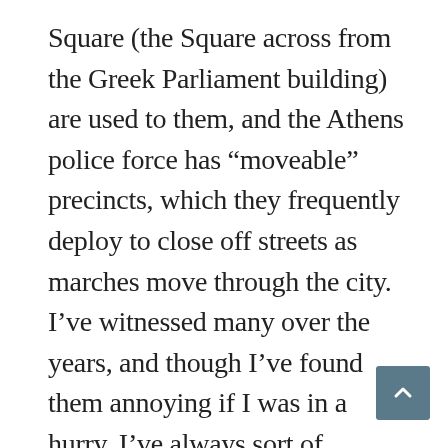Square (the Square across from the Greek Parliament building) are used to them, and the Athens police force has “moveable” precincts, which they frequently deploy to close off streets as marches move through the city. I’ve witnessed many over the years, and though I’ve found them annoying if I was in a hurry, I’ve always sort of admired the way they are here: In the US demonstrators are often given a “square” area to march in circles. In Greece the people take to the streets, marching from one part of the city to a particular government building depending on what they are protesting. To me it is the ultimate in democracy – lovely to me since I